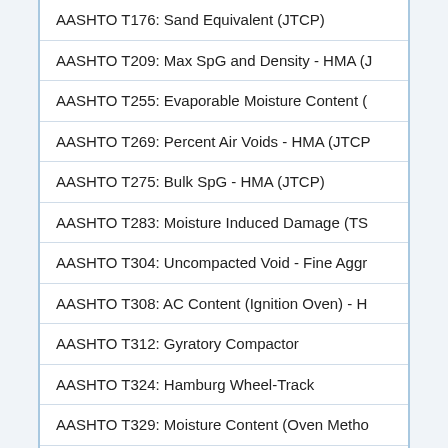| AASHTO T176: Sand Equivalent (JTCP) |
| AASHTO T209: Max SpG and Density - HMA (J... |
| AASHTO T255: Evaporable Moisture Content (... |
| AASHTO T269: Percent Air Voids - HMA (JTCP... |
| AASHTO T275: Bulk SpG - HMA (JTCP) |
| AASHTO T283: Moisture Induced Damage (TS... |
| AASHTO T304: Uncompacted Void - Fine Aggr... |
| AASHTO T308: AC Content (Ignition Oven) - H... |
| AASHTO T312: Gyratory Compactor |
| AASHTO T324: Hamburg Wheel-Track |
| AASHTO T329: Moisture Content (Oven Metho... |
| AASHTO T335: Percentage of Fracture (JTCP) |